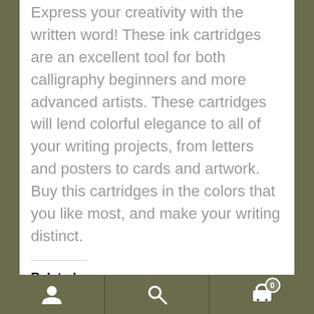Express your creativity with the written word! These ink cartridges are an excellent tool for both calligraphy beginners and more advanced artists. These cartridges will lend colorful elegance to all of your writing projects, from letters and posters to cards and artwork. Buy this cartridges in the colors that you like most, and make your writing distinct.
Related
Shaffer Skrip Ink
March 12, 2018
Similar post
Sheaffer Piston Ink Converter
April 18, 2018
Similar post
Sheaffer Ball Pen Refill
April 18, 2018